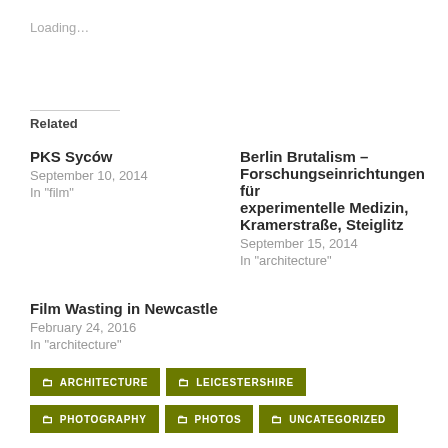Loading...
Related
PKS Syców
September 10, 2014
In "film"
Berlin Brutalism – Forschungseinrichtungen für experimentelle Medizin, Kramerstraße, Steiglitz
September 15, 2014
In "architecture"
Film Wasting in Newcastle
February 24, 2016
In "architecture"
ARCHITECTURE
LEICESTERSHIRE
PHOTOGRAPHY
PHOTOS
UNCATEGORIZED